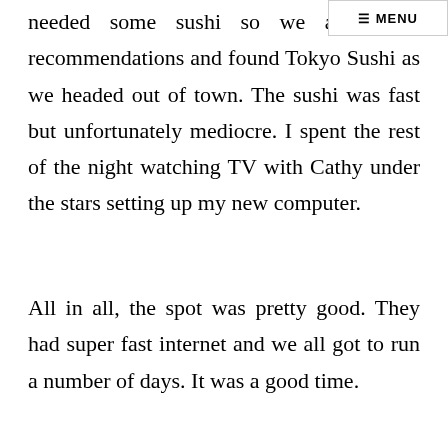≡ MENU
needed some sushi so we asked for recommendations and found Tokyo Sushi as we headed out of town. The sushi was fast but unfortunately mediocre. I spent the rest of the night watching TV with Cathy under the stars setting up my new computer.
All in all, the spot was pretty good. They had super fast internet and we all got to run a number of days. It was a good time.